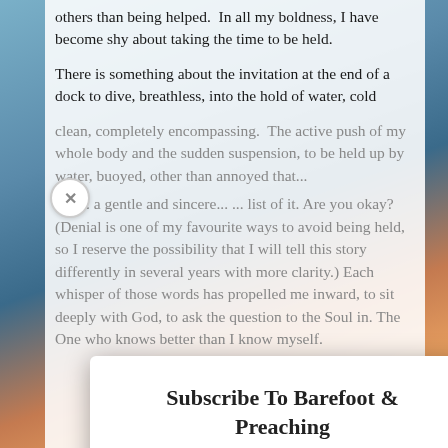others than being helped.  In all my boldness, I have become shy about taking the time to be held.
There is something about the invitation at the end of a dock to dive, breathless, into the hold of water, cold
clean, completely encompassing.  The active push of my whole body and the sudden suspension, to be held up by water, buoyed, other than annoyed that...
Subscribe To Barefoot & Preaching
Join Leah Perrault's mailing list to receive the latest column from 'Barefoot & Preaching', right to your inbox.
Email
SUBSCRIBE!